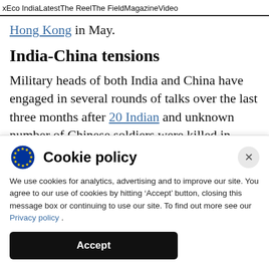x  Eco India  Latest  The Reel  The Field  Magazine  Video
Hong Kong in May.
India-China tensions
Military heads of both India and China have engaged in several rounds of talks over the last three months after 20 Indian and unknown number of Chinese soldiers were killed in violent clashes in Galwan Valley in June. But these talks
Cookie policy
We use cookies for analytics, advertising and to improve our site. You agree to our use of cookies by hitting ‘Accept’ button, closing this message box or continuing to use our site. To find out more see our Privacy policy .
Accept